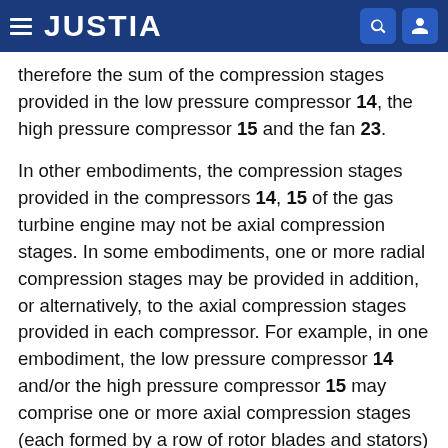JUSTIA
therefore the sum of the compression stages provided in the low pressure compressor 14, the high pressure compressor 15 and the fan 23.
In other embodiments, the compression stages provided in the compressors 14, 15 of the gas turbine engine may not be axial compression stages. In some embodiments, one or more radial compression stages may be provided in addition, or alternatively, to the axial compression stages provided in each compressor. For example, in one embodiment, the low pressure compressor 14 and/or the high pressure compressor 15 may comprise one or more axial compression stages (each formed by a row of rotor blades and stators) followed by a radial compression stage provided downstream of the axial compression stage or stages. In yet other embodiments, each of the compressors may